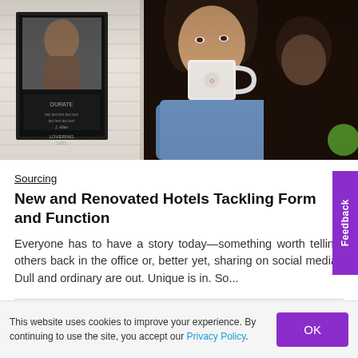[Figure (photo): Woman drinking from a white cup/mug in a cafe setting, with framed art on a white brick wall in the background and other patrons visible]
Sourcing
New and Renovated Hotels Tackling Form and Function
Everyone has to have a story today—something worth telling others back in the office or, better yet, sharing on social media. Dull and ordinary are out. Unique is in. So...
This website uses cookies to improve your experience. By continuing to use the site, you accept our Privacy Policy.